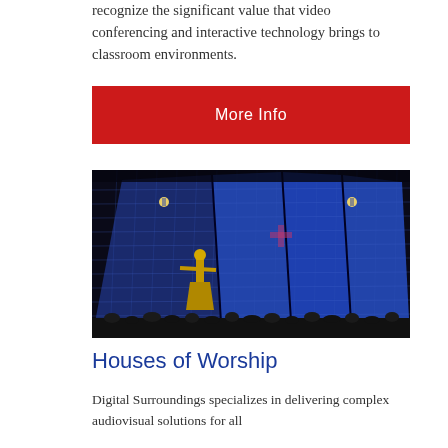recognize the significant value that video conferencing and interactive technology brings to classroom environments.
More Info
[Figure (photo): Interior of a large church or house of worship with a dramatic blue LED wall, a gold statue in the foreground, and an audience gathered below.]
Houses of Worship
Digital Surroundings specializes in delivering complex audiovisual solutions for all...